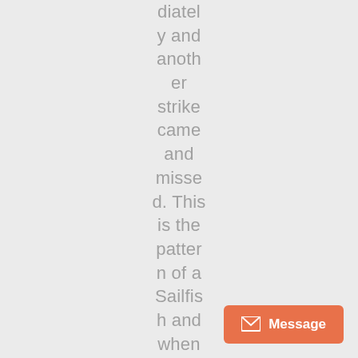diately and another strike came and missed. This is the pattern of a Sailfish and when the line was reset and tripped again
[Figure (other): Orange message button with envelope icon in bottom-right corner]